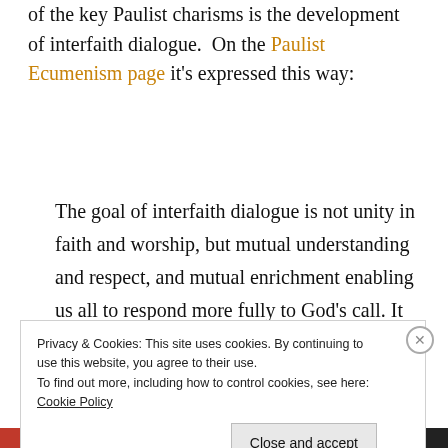of the key Paulist charisms is the development of interfaith dialogue.  On the Paulist Ecumenism page it's expressed this way:
The goal of interfaith dialogue is not unity in faith and worship, but mutual understanding and respect, and mutual enrichment enabling us all to respond more fully to God's call. It includes collaboration
Privacy & Cookies: This site uses cookies. By continuing to use this website, you agree to their use.
To find out more, including how to control cookies, see here: Cookie Policy